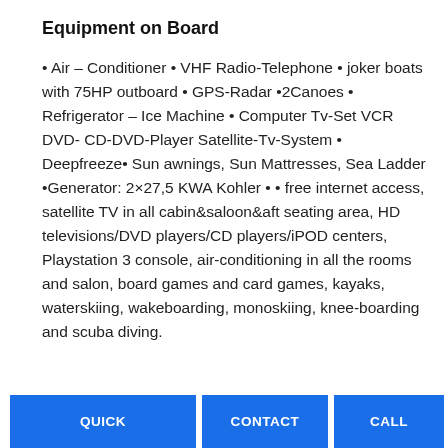Equipment on Board
• Air – Conditioner • VHF Radio-Telephone • joker boats with 75HP outboard • GPS-Radar •2Canoes • Refrigerator – Ice Machine • Computer Tv-Set VCR DVD- CD-DVD-Player Satellite-Tv-System • Deepfreeze• Sun awnings, Sun Mattresses, Sea Ladder •Generator: 2×27,5 KWA Kohler • • free internet access, satellite TV in all cabin&saloon&aft seating area, HD televisions/DVD players/CD players/iPOD centers, Playstation 3 console, air-conditioning in all the rooms and salon, board games and card games, kayaks, waterskiing, wakeboarding, monoskiing, knee-boarding and scuba diving.
QUICK
CONTACT
CALL